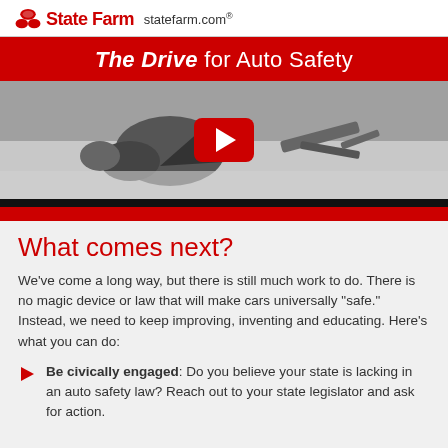State Farm statefarm.com®
The Drive for Auto Safety
[Figure (screenshot): Video thumbnail showing a car crash scene with debris, featuring a red YouTube-style play button in the center.]
What comes next?
We've come a long way, but there is still much work to do. There is no magic device or law that will make cars universally "safe." Instead, we need to keep improving, inventing and educating. Here's what you can do:
Be civically engaged: Do you believe your state is lacking in an auto safety law? Reach out to your state legislator and ask for action.